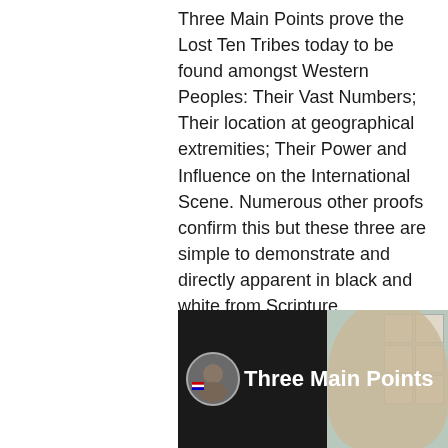Three Main Points prove the Lost Ten Tribes today to be found amongst Western Peoples: Their Vast Numbers; Their location at geographical extremities; Their Power and Influence on the International Scene. Numerous other proofs confirm this but these three are simple to demonstrate and directly apparent in black and white from Scripture.

Duration 17 minutes. To read article please Scroll Down!
[Figure (screenshot): Video thumbnail showing a bearded man on the left side and a face on the right, with the text 'Three Main Points' and a circular channel icon with a flag overlay]